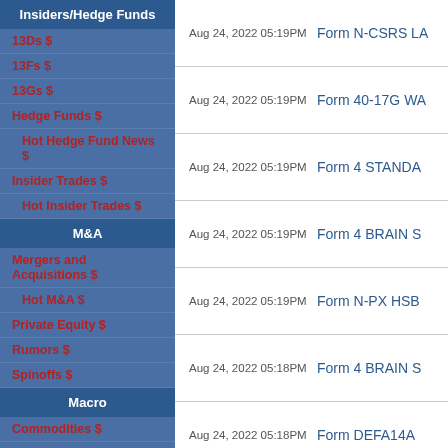Insiders/Hedge Funds
13Ds $
13Fs $
13Gs $
Hedge Funds $
Hot Hedge Fund News $
Insider Trades $
Hot Insider Trades $
M&A
Mergers and Acquisitions $
Hot M&A $
Private Equity $
Rumors $
Spinoffs $
Macro
Commodities $
Cryptocurrency
Economic Data $
Aug 24, 2022 05:19PM  Form N-CSRS LA
Aug 24, 2022 05:19PM  Form 40-17G WA
Aug 24, 2022 05:19PM  Form 4 STANDA
Aug 24, 2022 05:19PM  Form 4 BRAIN S
Aug 24, 2022 05:19PM  Form N-PX HSB
Aug 24, 2022 05:18PM  Form 4 BRAIN S
Aug 24, 2022 05:18PM  Form DEFA14A
Aug 24, 2022 05:18PM  Form 424B2 BAB